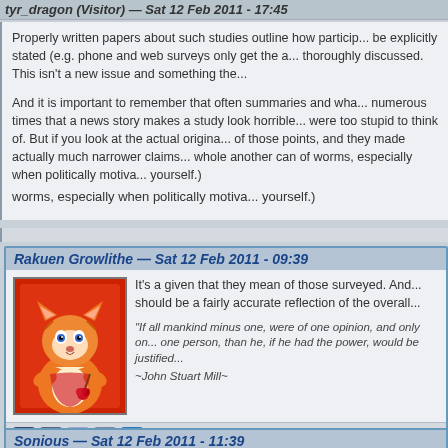tyr_dragon (Visitor) — Sat 12 Feb 2011 - 17:45
Properly written papers about such studies outline how particip... be explicitly stated (e.g. phone and web surveys only get the a... thoroughly discussed. This isn't a new issue and something the...
And it is important to remember that often summaries and wha... numerous times that a news story makes a study look horrible... were too stupid to think of. But if you look at the actual origina... of those points, and they made actually much narrower claims... whole another can of worms, especially when politically motiva... yourself.)
Rakuen Growlithe — Sat 12 Feb 2011 - 09:39
[Figure (illustration): Avatar of Rakuen Growlithe: cartoon orange tiger/cat character with blue eyes, holding a red rose, on red background]
It's a given that they mean of those surveyed. And... should be a fairly accurate reflection of the overall...
"If all mankind minus one, were of one opinion, and only on... one person, than he, if he had the power, would be justified...
~John Stuart Mill~
Sonious — Sat 12 Feb 2011 - 11:39